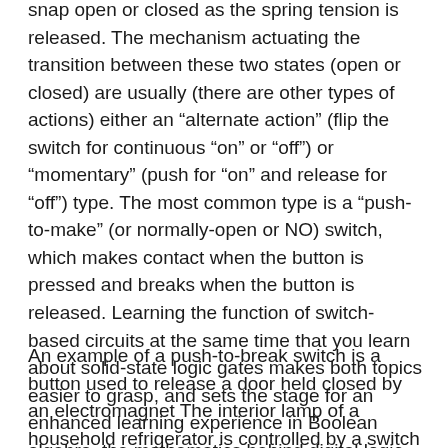snap open or closed as the spring tension is released. The mechanism actuating the transition between these two states (open or closed) are usually (there are other types of actions) either an “alternate action” (flip the switch for continuous “on” or “off”) or “momentary” (push for “on” and release for “off”) type. The most common type is a “push-to-make” (or normally-open or NO) switch, which makes contact when the button is pressed and breaks when the button is released. Learning the function of switch-based circuits at the same time that you learn about solid-state logic gates makes both topics easier to grasp, and sets the stage for an enhanced learning experience in Boolean algebra, the mathematics behind digital logic circuits.
An example of a push-to-break switch is a button used to release a door held closed by an electromagnet The interior lamp of a household refrigerator is controlled by a switch that is held open when the door is closed...